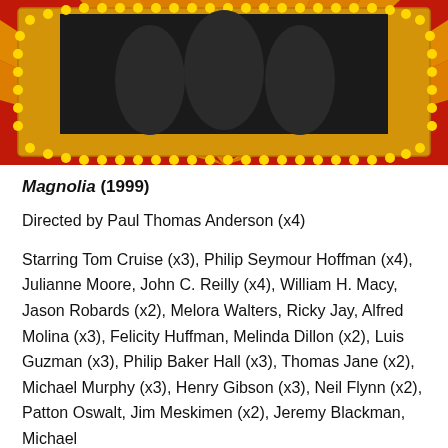[Figure (illustration): Movie marquee illustration with yellow bulb lights border on red background with gold rays, dark center screen area at top]
Magnolia (1999)
Directed by Paul Thomas Anderson (x4)
Starring Tom Cruise (x3), Philip Seymour Hoffman (x4), Julianne Moore, John C. Reilly (x4), William H. Macy, Jason Robards (x2), Melora Walters, Ricky Jay, Alfred Molina (x3), Felicity Huffman, Melinda Dillon (x2), Luis Guzman (x3), Philip Baker Hall (x3), Thomas Jane (x2), Michael Murphy (x3), Henry Gibson (x3), Neil Flynn (x2), Patton Oswalt, Jim Meskimen (x2), Jeremy Blackman, Michael Bowen, Clint Allen, Clark Gregg (x3)